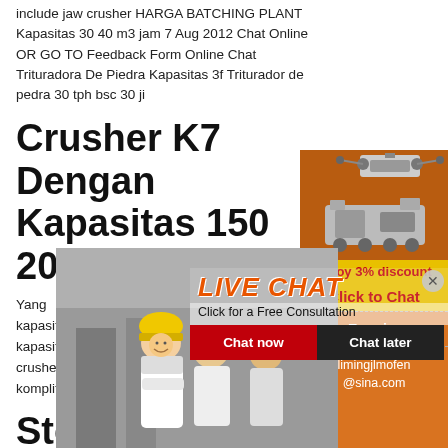include jaw crusher HARGA BATCHING PLANT Kapasitas 30 40 m3 jam 7 Aug 2012 Chat Online OR GO TO Feedback Form Online Chat Trituradora De Piedra Kapasitas 3f Triturador de pedra 30 tph bsc 30 ji
Crusher K7 Dengan Kapasitas 150 20 M
[Figure (photo): Live chat popup overlay with workers in safety helmets, red and black chat now/chat later buttons, orange background with machinery images on right side panel]
Yang 3,5 ton per jam,.Harga stone crusher kapasita per jam.Jual mesin ball mill bekas kapasitas. a support online satu set stone crusher kapasita jam - arooms.Harga mesin komplit stone crus kapasitas 200 m3 per hari.
Stone Crusher Kapasitas 20 M3